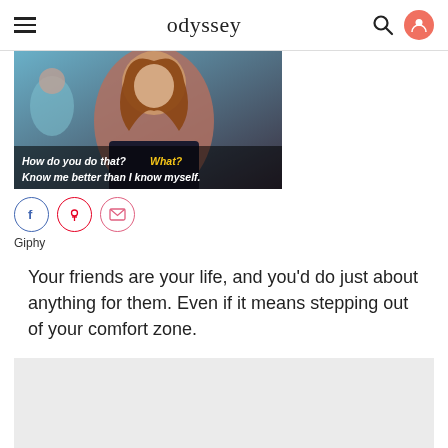odyssey
[Figure (photo): A young woman at a party with text overlay reading: 'How do you do that? What? Know me better than I know myself.']
Giphy
Your friends are your life, and you'd do just about anything for them. Even if it means stepping out of your comfort zone.
[Figure (other): Gray advertisement placeholder box]